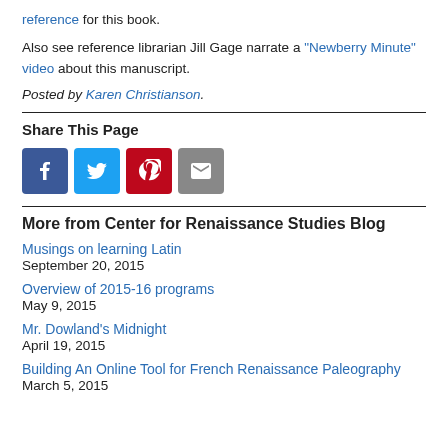reference for this book.
Also see reference librarian Jill Gage narrate a "Newberry Minute" video about this manuscript.
Posted by Karen Christianson.
Share This Page
[Figure (infographic): Social sharing icons: Facebook (blue), Twitter (light blue), Pinterest (red), Email (grey)]
More from Center for Renaissance Studies Blog
Musings on learning Latin
September 20, 2015
Overview of 2015-16 programs
May 9, 2015
Mr. Dowland's Midnight
April 19, 2015
Building An Online Tool for French Renaissance Paleography
March 5, 2015